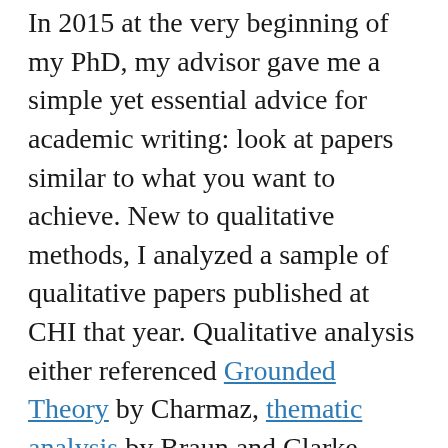In 2015 at the very beginning of my PhD, my advisor gave me a simple yet essential advice for academic writing: look at papers similar to what you want to achieve. New to qualitative methods, I analyzed a sample of qualitative papers published at CHI that year. Qualitative analysis either referenced Grounded Theory by Charmaz, thematic analysis by Braun and Clarke (B&C), or simply stated using open coding. During CHI reviewing this year, Samantha and I noticed many references to thematic analysis used language and concepts Braun and Clarke have often disavowed. They have in face expressed frustrations regarding how their paper is interpreted and used. We thought it would be helpful to summarize their recent writings on the methods, in hope it